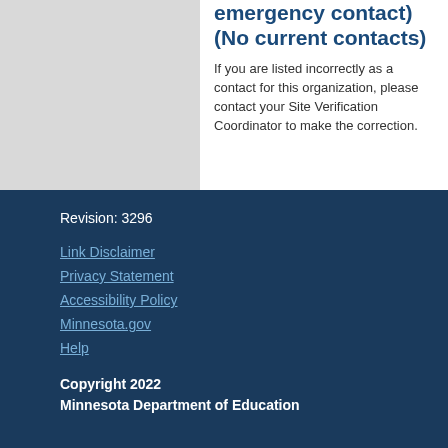emergency contact) (No current contacts)
If you are listed incorrectly as a contact for this organization, please contact your Site Verification Coordinator to make the correction.
Revision: 3296
Link Disclaimer
Privacy Statement
Accessibility Policy
Minnesota.gov
Help
Copyright 2022 Minnesota Department of Education